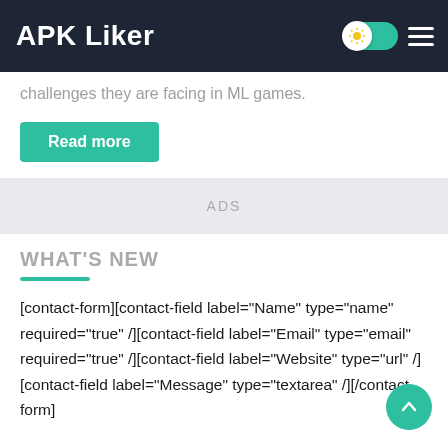APK Liker
challenges they are facing in ML games.
Read more
ADS
WHAT'S NEW
[contact-form][contact-field label="Name" type="name" required="true" /][contact-field label="Email" type="email" required="true" /][contact-field label="Website" type="url" /][contact-field label="Message" type="textarea" /][/contact-form]